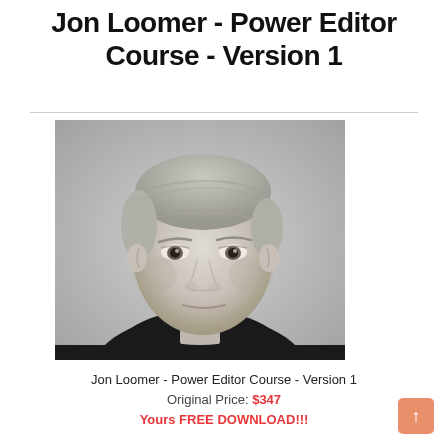Jon Loomer - Power Editor Course - Version 1
[Figure (photo): Black and white portrait photo of Jon Loomer, a middle-aged man with short light hair wearing a dark sweater, looking slightly to the side with a serious expression.]
Jon Loomer - Power Editor Course - Version 1
Original Price: $347
Yours FREE DOWNLOAD!!!